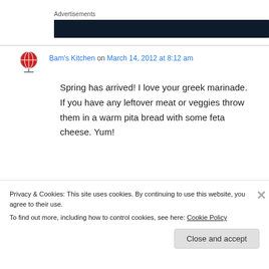Advertisements
[Figure (other): Dark advertisement banner placeholder]
Bam's Kitchen on March 14, 2012 at 8:12 am
Spring has arrived! I love your greek marinade. If you have any leftover meat or veggies throw them in a warm pita bread with some feta cheese. Yum!
Privacy & Cookies: This site uses cookies. By continuing to use this website, you agree to their use.
To find out more, including how to control cookies, see here: Cookie Policy
Close and accept